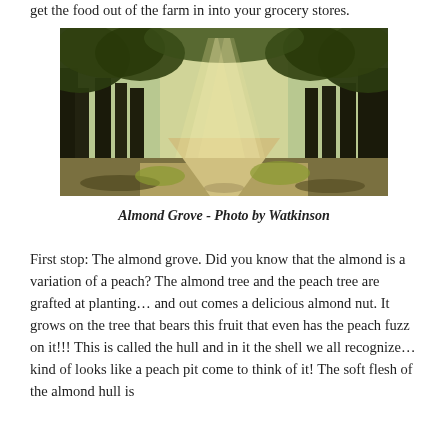get the food out of the farm in into your grocery stores.
[Figure (photo): An almond grove with tall trees arching overhead, sunlight streaming through branches onto a path below, creating dramatic light rays through the canopy.]
Almond Grove - Photo by Watkinson
First stop: The almond grove. Did you know that the almond is a variation of a peach? The almond tree and the peach tree are grafted at planting… and out comes a delicious almond nut. It grows on the tree that bears this fruit that even has the peach fuzz on it!!! This is called the hull and in it the shell we all recognize… kind of looks like a peach pit come to think of it!  The soft flesh of the almond hull is